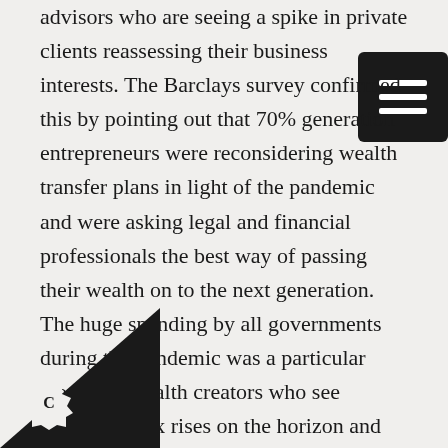advisors who are seeing a spike in private clients reassessing their business interests. The Barclays survey confirmed this by pointing out that 70% generation entrepreneurs were reconsidering wealth transfer plans in light of the pandemic and were asking legal and financial professionals the best way of passing their wealth on to the next generation. The huge spending by all governments during the pandemic was a particular worry for wealth creators who see significant tax rises on the horizon and want to act now to find the most tax-efficient way of passing on their assets.

For first-generation wealth creators another method of passing down money is through trusts. This is not much business planning but typically more funding andchild's education and lifestyle – and this will